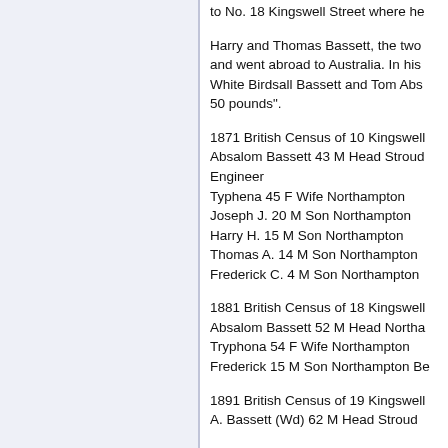to No. 18 Kingswell Street where he
Harry and Thomas Bassett, the two and went abroad to Australia. In his White Birdsall Bassett and Tom Abs 50 pounds".
1871 British Census of 10 Kingswell Absalom Bassett 43 M Head Stroud Engineer
Typhena 45 F Wife Northampton
Joseph J. 20 M Son Northampton
Harry H. 15 M Son Northampton
Thomas A. 14 M Son Northampton
Frederick C. 4 M Son Northampton
1881 British Census of 18 Kingswell Absalom Bassett 52 M Head Northa Tryphona 54 F Wife Northampton
Frederick 15 M Son Northampton Be
1891 British Census of 19 Kingswell A. Bassett (Wd) 62 M Head Stroud